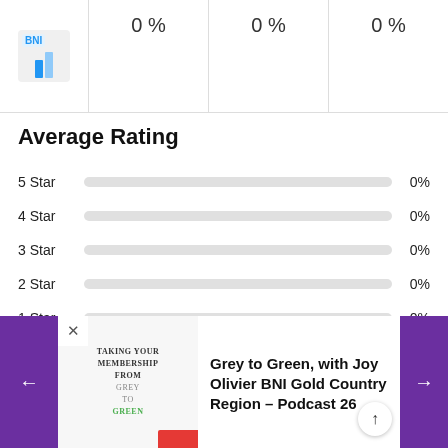|  | 0 % | 0 % | 0 % |
| --- | --- | --- | --- |
Average Rating
5 Star  0%
4 Star  0%
3 Star  0%
2 Star  0%
1 Star  0%
(Add your review)
[Figure (screenshot): Podcast card showing 'Grey to Green, with Joy Olivier BNI Gold Country Region – Podcast 26' with navigation arrows and podcast thumbnail]